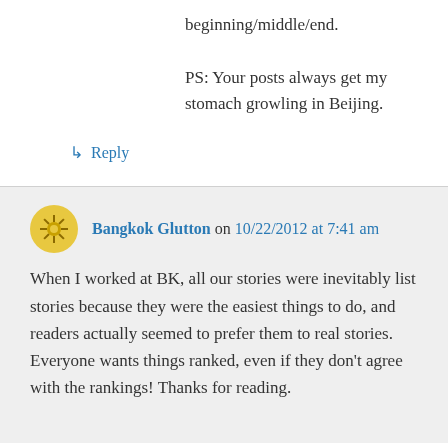beginning/middle/end.
PS: Your posts always get my stomach growling in Beijing.
↳ Reply
Bangkok Glutton on 10/22/2012 at 7:41 am
When I worked at BK, all our stories were inevitably list stories because they were the easiest things to do, and readers actually seemed to prefer them to real stories. Everyone wants things ranked, even if they don't agree with the rankings! Thanks for reading.